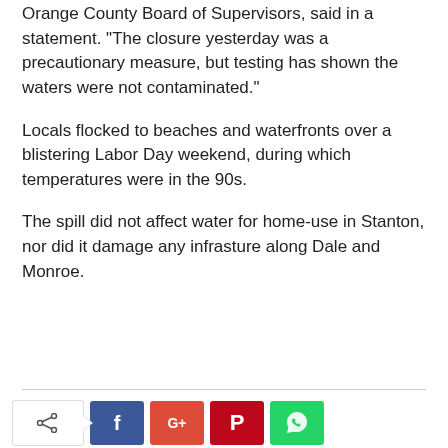Orange County Board of Supervisors, said in a statement. “The closure yesterday was a precautionary measure, but testing has shown the waters were not contaminated.”
Locals flocked to beaches and waterfronts over a blistering Labor Day weekend, during which temperatures were in the 90s.
The spill did not affect water for home-use in Stanton, nor did it damage any infrasture along Dale and Monroe.
[Figure (infographic): Social share bar with native share button and Facebook, Google+, Pinterest, WhatsApp buttons]